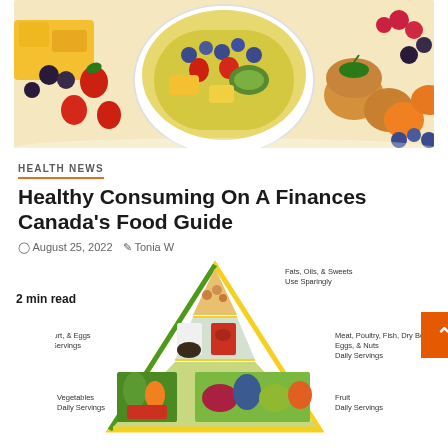[Figure (photo): Overhead shot of colorful fresh fruits, berries, muffins, and a bowl of mixed fruit salad on a white background]
HEALTH NEWS
Healthy Consuming On A Finances Canada's Food Guide
August 25, 2022   Tonia W
2 min read
[Figure (illustration): Food pyramid diagram showing different food groups: Fats, Oils & Sweets (Use Sparingly) at top; Milk, Yogurt & Eggs Daily Servings and Meat, Poultry, Fish, Dry Beans, Eggs & Nuts Daily Servings in middle; Vegetables Daily Servings and Fruit Daily Servings at bottom. Yellow and green outlined pyramid with food photos inside.]